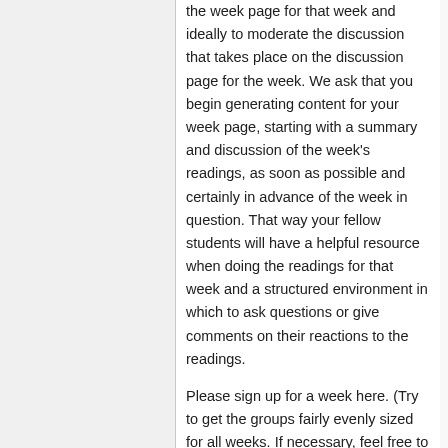the week page for that week and ideally to moderate the discussion that takes place on the discussion page for the week. We ask that you begin generating content for your week page, starting with a summary and discussion of the week's readings, as soon as possible and certainly in advance of the week in question. That way your fellow students will have a helpful resource when doing the readings for that week and a structured environment in which to ask questions or give comments on their reactions to the readings.
Please sign up for a week here. (Try to get the groups fairly evenly sized for all weeks. If necessary, feel free to add a slot for yourself on week.):
Week 1: Cyberstrategy and Wiki (The